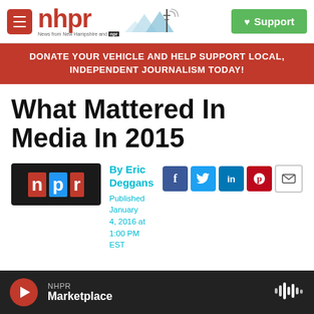nhpr — News from New Hampshire and NPR | Support
DONATE YOUR VEHICLE AND HELP SUPPORT LOCAL, INDEPENDENT JOURNALISM TODAY!
What Mattered In Media In 2015
By Eric Deggans
Published January 4, 2016 at 1:00 PM EST
NHPR Marketplace